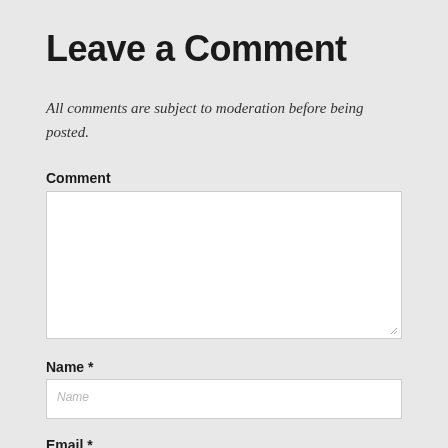Leave a Comment
All comments are subject to moderation before being posted.
Comment
[Figure (other): Large empty comment textarea input box with resize handle in bottom-right corner]
Name *
[Figure (other): Single-line text input field for Name with placeholder text]
Email *
[Figure (other): Single-line text input field for Email, partially visible at bottom of page]